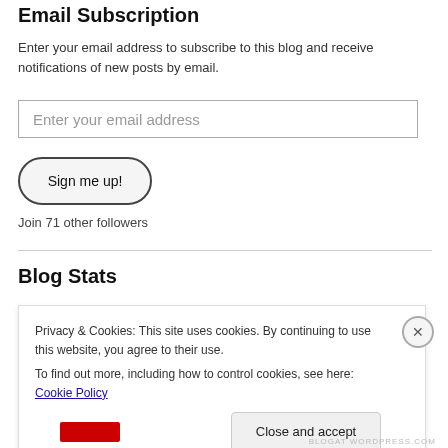Email Subscription
Enter your email address to subscribe to this blog and receive notifications of new posts by email.
Enter your email address
Sign me up!
Join 71 other followers
Blog Stats
Privacy & Cookies: This site uses cookies. By continuing to use this website, you agree to their use.
To find out more, including how to control cookies, see here: Cookie Policy
Close and accept